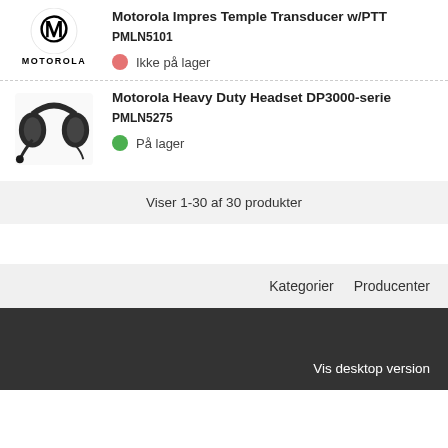[Figure (logo): Motorola logo with circular M symbol and MOTOROLA text]
Motorola Impres Temple Transducer w/PTT
PMLN5101
Ikke på lager
[Figure (photo): Motorola Heavy Duty Headset DP3000-serie product photo]
Motorola Heavy Duty Headset DP3000-serie
PMLN5275
På lager
Viser 1-30 af 30 produkter
Kategorier   Producenter
Vis desktop version